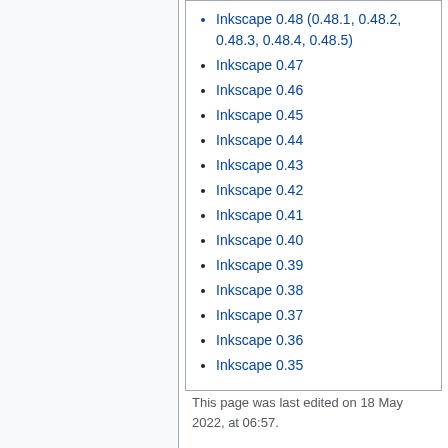Inkscape 0.48 (0.48.1, 0.48.2, 0.48.3, 0.48.4, 0.48.5)
Inkscape 0.47
Inkscape 0.46
Inkscape 0.45
Inkscape 0.44
Inkscape 0.43
Inkscape 0.42
Inkscape 0.41
Inkscape 0.40
Inkscape 0.39
Inkscape 0.38
Inkscape 0.37
Inkscape 0.36
Inkscape 0.35
This page was last edited on 18 May 2022, at 06:57.